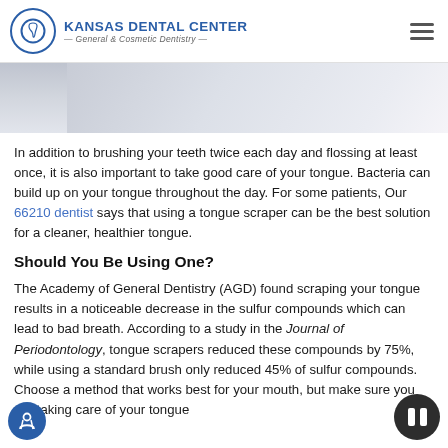[Figure (logo): Kansas Dental Center logo with tooth icon in circle, text 'Kansas Dental Center — General & Cosmetic Dentistry —']
[Figure (photo): Partial photo of dental professional in white coat, light/grey background, only bottom portion visible]
In addition to brushing your teeth twice each day and flossing at least once, it is also important to take good care of your tongue. Bacteria can build up on your tongue throughout the day. For some patients, Our 66210 dentist says that using a tongue scraper can be the best solution for a cleaner, healthier tongue.
Should You Be Using One?
The Academy of General Dentistry (AGD) found scraping your tongue results in a noticeable decrease in the sulfur compounds which can lead to bad breath. According to a study in the Journal of Periodontology, tongue scrapers reduced these compounds by 75%, while using a standard brush only reduced 45% of sulfur compounds. Choose a method that works best for your mouth, but make sure you are taking care of your tongue